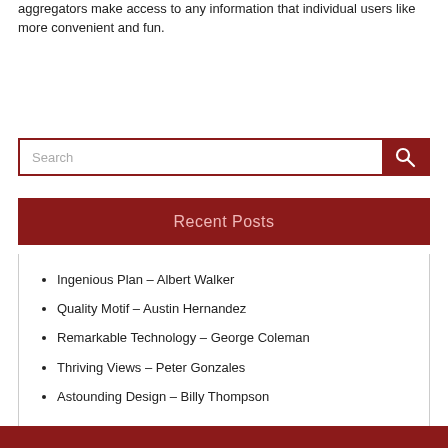aggregators make access to any information that individual users like more convenient and fun.
[Figure (other): Search box with red border and dark red search button with magnifying glass icon]
Recent Posts
Ingenious Plan – Albert Walker
Quality Motif – Austin Hernandez
Remarkable Technology – George Coleman
Thriving Views – Peter Gonzales
Astounding Design – Billy Thompson